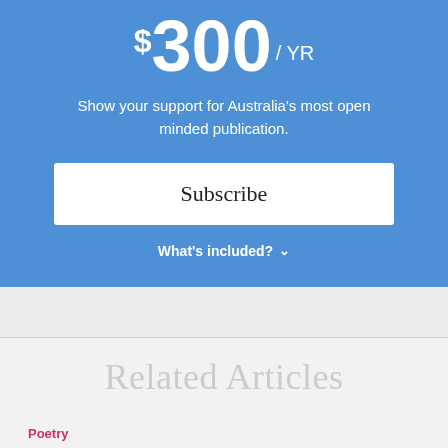$300 / YR
Show your support for Australia's most open minded publication.
Subscribe
What's included? ∨
Related Articles
Poetry
Marion Mossammaparast: Hiroko Can